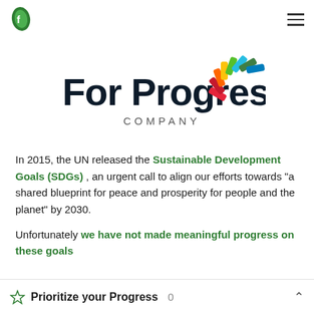For Progress Company — navigation header with hamburger menu
[Figure (logo): For Progress Company logo: large bold dark-navy text 'For Progress' with colorful SDG-wheel sunburst of colored segments (red, orange, yellow, green, teal, blue) in top-right of text, and 'COMPANY' in spaced caps below.]
In 2015, the UN released the Sustainable Development Goals (SDGs), an urgent call to align our efforts towards "a shared blueprint for peace and prosperity for people and the planet" by 2030.

Unfortunately we have not made meaningful progress on these goals
☆ Prioritize your Progress  0  ^